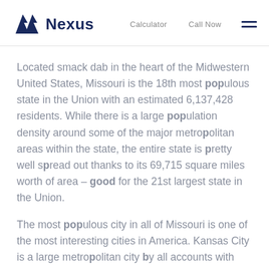Nexus | Calculator | Call Now
Located smack dab in the heart of the Midwestern United States, Missouri is the 18th most populous state in the Union with an estimated 6,137,428 residents. While there is a large population density around some of the major metropolitan areas within the state, the entire state is pretty well spread out thanks to its 69,715 square miles worth of area – good for the 21st largest state in the Union.
The most populous city in all of Missouri is one of the most interesting cities in America. Kansas City is a large metropolitan city by all accounts with 495,327 residents. That ranks 38th among all cities within the United States. The really strange part is that the Kansas City metro...